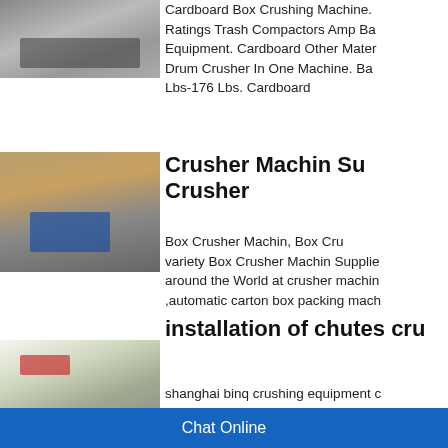[Figure (photo): Partial top image of machinery or industrial equipment, partially cropped at top]
Cardboard Box Crushing Machine. Ratings Trash Compactors Amp Ba Equipment. Cardboard Other Mater Drum Crusher In One Machine. Ba Lbs-176 Lbs. Cardboard
[Figure (photo): Outdoor industrial crusher machine setup with mountains in background, blue machinery visible]
Crusher Machin Su Crusher
Box Crusher Machin, Box Cru variety Box Crusher Machin Supplie around the World at crusher machin ,automatic carton box packing mach
[Figure (photo): Green and white industrial impact crusher machine indoors]
installation of chutes cru
shanghai binq crushing equipment Equipment Co Shanghai Binq Mini
Chat Online